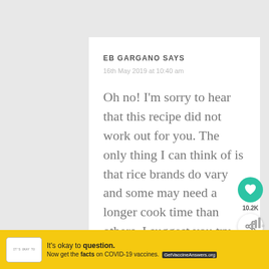EB GARGANO SAYS
16th May 2019 at 10:40 am
Oh no! I'm sorry to hear that this recipe did not work out for you. The only thing I can think of is that rice brands do vary and some may need a longer cook time than others. I suggest you try cooking
[Figure (screenshot): Heart/like button (teal circle with heart icon) showing 10.2K likes, and a share button below it]
[Figure (screenshot): What's Next panel showing Leftover Chicken and... with a food thumbnail]
[Figure (screenshot): Yellow advertisement banner: It's okay to question. Now get the facts on COVID-19 vaccines. GetVaccineAnswers.org with a close button]